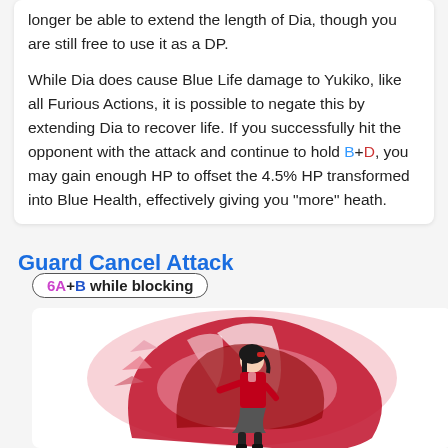longer be able to extend the length of Dia, though you are still free to use it as a DP.
While Dia does cause Blue Life damage to Yukiko, like all Furious Actions, it is possible to negate this by extending Dia to recover life. If you successfully hit the opponent with the attack and continue to hold B+D, you may gain enough HP to offset the 4.5% HP transformed into Blue Health, effectively giving you "more" heath.
Guard Cancel Attack
6A+B while blocking
[Figure (illustration): Illustration of Yukiko character performing a spinning attack with a large red and pink circular swirl/fan effect behind her.]